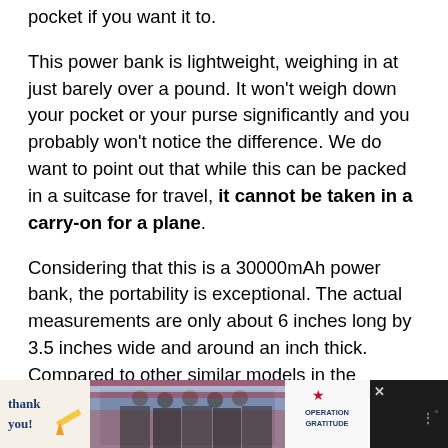pocket if you want it to.
This power bank is lightweight, weighing in at just barely over a pound. It won't weigh down your pocket or your purse significantly and you probably won't notice the difference. We do want to point out that while this can be packed in a suitcase for travel, it cannot be taken in a carry-on for a plane.
Considering that this is a 30000mAh power bank, the portability is exceptional. The actual measurements are only about 6 inches long by 3.5 inches wide and around an inch thick. Compared to other similar models in the industry, portability st[truncated]
[Figure (other): Advertisement banner at the bottom of the page showing a 'Thank you' message with an image of firefighters and the Operation Gratitude logo, with a close button.]